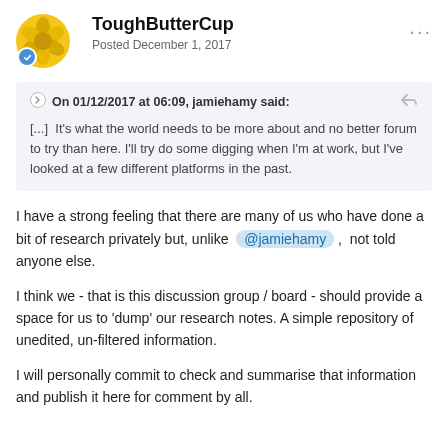ToughButterCup — Posted December 1, 2017
On 01/12/2017 at 06:09, jamiehamy said: [...] It's what the world needs to be more about and no better forum to try than here. I'll try do some digging when I'm at work, but I've looked at a few different platforms in the past.
I have a strong feeling that there are many of us who have done a bit of research privately but, unlike @jamiehamy , not told anyone else.
I think we - that is this discussion group / board - should provide a space for us to 'dump' our research notes. A simple repository of unedited, un-filtered information.
I will personally commit to check and summarise that information and publish it here for comment by all.